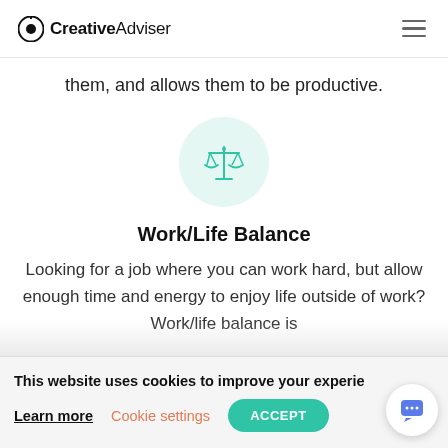CreativeAdviser
them, and allows them to be productive.
[Figure (illustration): A teal balance/scales icon inside a light teal circle, representing work/life balance.]
Work/Life Balance
Looking for a job where you can work hard, but allow enough time and energy to enjoy life outside of work? Work/life balance is
This website uses cookies to improve your experie
Learn more
Cookie settings
ACCEPT